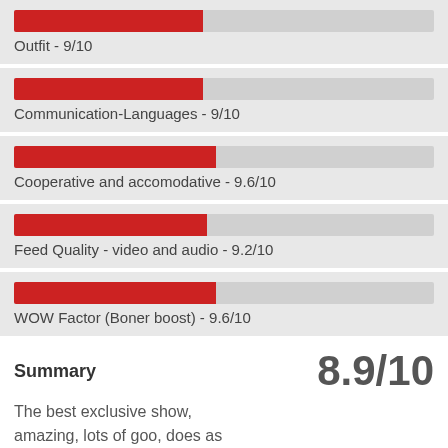[Figure (bar-chart): Ratings]
Summary
8.9/10
The best exclusive show, amazing, lots of goo, does as asked and great attitude, in my top 5 for sure!